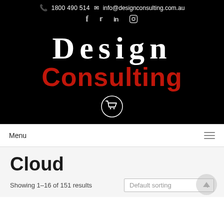📞 1800 490 514 ✉ info@designconsulting.com.au
[Figure (logo): Design Consulting logo on black background with social media icons (f, twitter, in, instagram) and a shopping cart icon. 'Design' in white serif bold, 'Consulting' in red bold sans-serif.]
Menu
Cloud
Showing 1–16 of 151 results
Default sorting